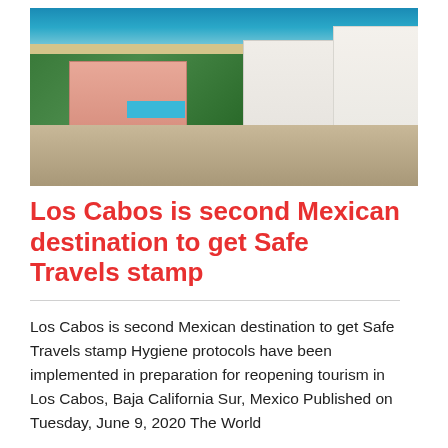[Figure (photo): Aerial view of Los Cabos resort area showing pink and white hotel buildings, swimming pools surrounded by tropical vegetation, a sandy beach, and turquoise ocean water in the background. Baja California Sur, Mexico.]
Los Cabos is second Mexican destination to get Safe Travels stamp
Los Cabos is second Mexican destination to get Safe Travels stamp Hygiene protocols have been implemented in preparation for reopening tourism in Los Cabos, Baja California Sur, Mexico Published on Tuesday, June 9, 2020 The World